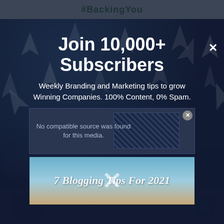#BackingYou
Join 10,000+ Subscribers
Weekly Branding and Marketing tips to grow Winning Companies. 100% Content, 0% Spam.
No compatible source was found for this media.
[Figure (screenshot): 7 Blogging Tips For 2021 beach background image with X overlay]
Email
In-store shopping
Curbside pickup